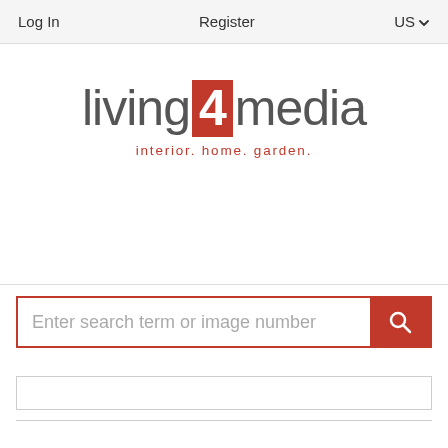Log In    Register    US
[Figure (logo): living4media logo with orange/red background block behind '4', subtitle reads 'interior. home. garden.' in orange]
Enter search term or image number